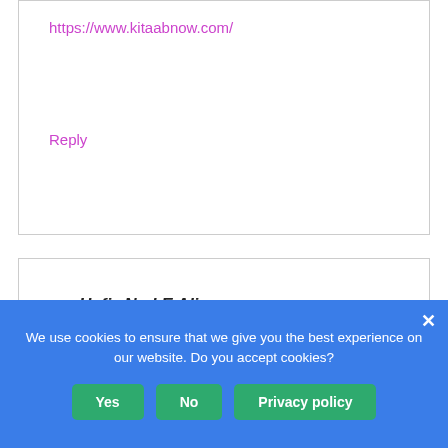https://www.kitaabnow.com/
Reply
Hafiz Nad E Ali says
april 27, 2021 at 12:22 pm
I really appreciated your writing. for more topics like this please visit Contemporary World.
https://www.blogger.com/blog/posts/8137264
We use cookies to ensure that we give you the best experience on our website. Do you accept cookies?